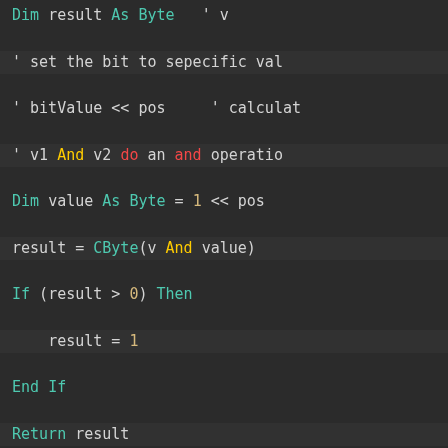[Figure (screenshot): Code editor screenshot showing Visual Basic .NET code for GetBit functions with syntax highlighting on dark background. Code includes Dim result As Byte, set bit comments, bitValue calculations, And operations, CByte calls, If/Then/End If blocks, Return statement, End Function, and Public Shared Function GetBit16 with argument validation.]